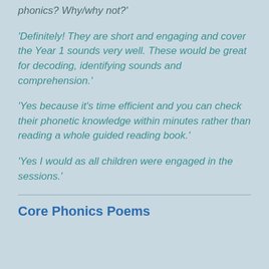phonics? Why/why not?'
'Definitely! They are short and engaging and cover the Year 1 sounds very well. These would be great for decoding, identifying sounds and comprehension.'
'Yes because it's time efficient and you can check their phonetic knowledge within minutes rather than reading a whole guided reading book.'
'Yes I would as all children were engaged in the sessions.'
Core Phonics Poems